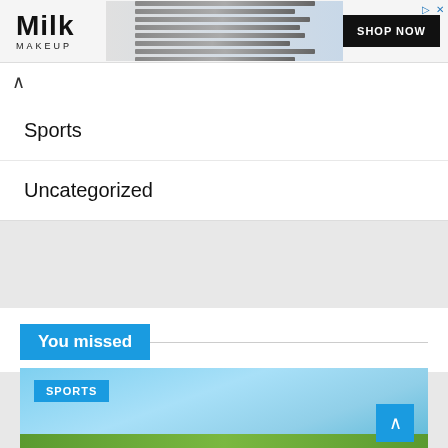[Figure (screenshot): Milk Makeup advertisement banner with logo, eyeliner product imagery, and SHOP NOW button]
Sports
Uncategorized
You missed
[Figure (photo): Sports category image showing outdoor field under blue sky with SPORTS badge label]